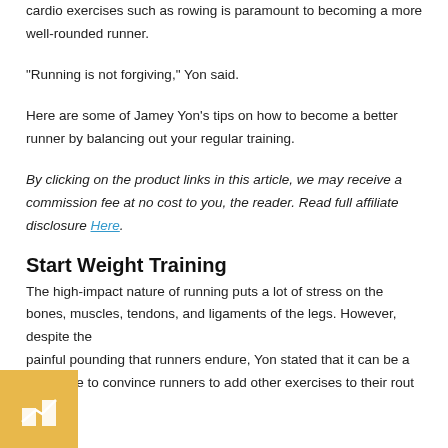cardio exercises such as rowing is paramount to becoming a more well-rounded runner.
"Running is not forgiving," Yon said.
Here are some of Jamey Yon's tips on how to become a better runner by balancing out your regular training.
By clicking on the product links in this article, we may receive a commission fee at no cost to you, the reader. Read full affiliate disclosure Here.
Start Weight Training
The high-impact nature of running puts a lot of stress on the bones, muscles, tendons, and ligaments of the legs. However, despite the painful pounding that runners endure, Yon stated that it can be a challenge to convince runners to add other exercises to their rout